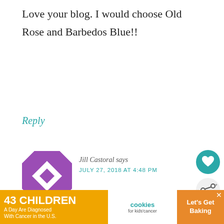Love your blog. I would choose Old Rose and Barbedos Blue!!
Reply
[Figure (illustration): Purple and white geometric quilt-pattern avatar icon for user Jill Castoral]
Jill Castoral says
JULY 27, 2018 AT 4:48 PM
Lagoon Water and Bone. Love these paint colors. Soft and mellow. I have a b… claw foot table and would love to use these co…
[Figure (infographic): Heart like button (teal circle with heart icon) showing count 24, and a share button]
[Figure (infographic): WHAT'S NEXT panel with thumbnail and text 'A Storied Piece and...']
[Figure (infographic): Ad banner: 43 CHILDREN A Day Are Diagnosed With Cancer in the U.S. - cookies for kids' cancer - Let's Get Baking]